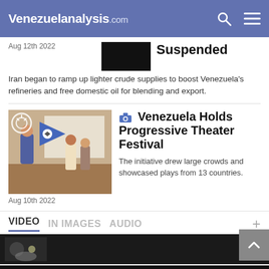Venezuelanalysis.com
Suspended
Aug 12th 2022
Iran began to ramp up lighter crude supplies to boost Venezuela's refineries and free domestic oil for blending and export.
[Figure (photo): Theater performance scene with performers waving a blue flag on stage]
Aug 10th 2022
Venezuela Holds Progressive Theater Festival
The initiative drew large crowds and showcased plays from 13 countries.
VIDEO  IN IMAGES  AUDIO
Support us, DONATE NOW!